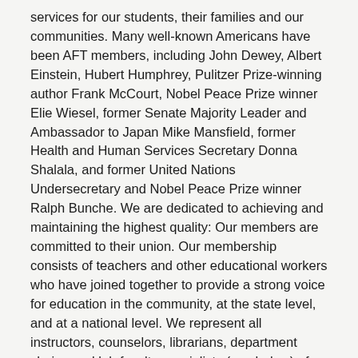services for our students, their families and our communities. Many well-known Americans have been AFT members, including John Dewey, Albert Einstein, Hubert Humphrey, Pulitzer Prize-winning author Frank McCourt, Nobel Peace Prize winner Elie Wiesel, former Senate Majority Leader and Ambassador to Japan Mike Mansfield, former Health and Human Services Secretary Donna Shalala, and former United Nations Undersecretary and Nobel Peace Prize winner Ralph Bunche. We are dedicated to achieving and maintaining the highest quality: Our members are committed to their union. Our membership consists of teachers and other educational workers who have joined together to provide a strong voice for education in the community, at the state level, and at a national level. We represent all instructors, counselors, librarians, department chairs, and lab faculty specialists (see below) of the West Valley-Mission Community College District. 1945. We are committed to advancing these principles through community engagement, organizing, collective bargaining and political activism, and especially ... The American Federation of